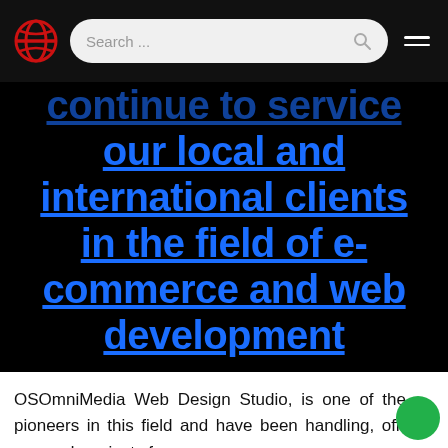Search ...
continue to service our local and international clients in the field of e-commerce and web development
OSOmniMedia Web Design Studio, is one of the pioneers in this field and have been handling, off-coursed, projects for over a